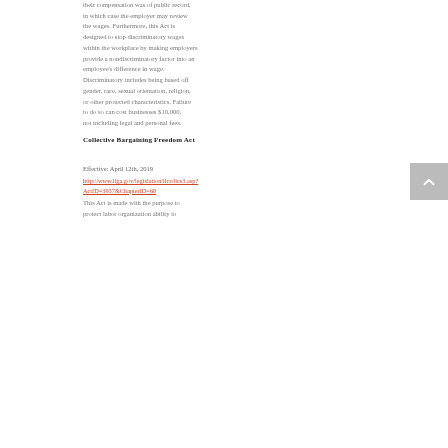their compensation was of public record, in which case the employer may review the wages. Furthermore, this Act is designed to stop discriminatory wages within the workplace by making employers provide a nondiscriminatory factor into an employee's difference in wage. Discriminatory includes being based off gender, race, sexual orientation, religion, or other protected characteristics. Failure to do so can cost businesses $10,000, not including legal and personal fees.
Collective Bargaining Freedom Act
Effective: April 12th, 2019
http://www.ilga.gov/legislation/ilcs/ilcs3.asp?ActID=3937&ChapterID=68
This Act is made with the purpose to protect labor organization ability to